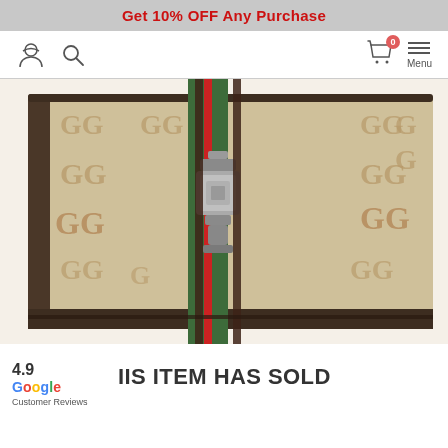Get 10% OFF Any Purchase
[Figure (screenshot): Navigation bar with user icon, search icon, cart icon with badge '0', and Menu hamburger icon]
[Figure (photo): Close-up photo of a Gucci Jackie wallet in GG monogram canvas with green and red web stripe and silver metal clasp closure on white background]
4.9 Google Customer Reviews
IIS ITEM HAS SOLD